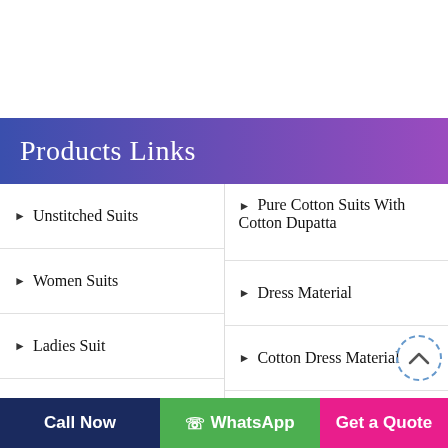Products Links
Unstitched Suits
Pure Cotton Suits With Cotton Dupatta
Women Suits
Dress Material
Ladies Suit
Cotton Dress Material
Wedding Suits
Unstitched Dress Material
Designer Suits
Call Now   WhatsApp   Get a Quote